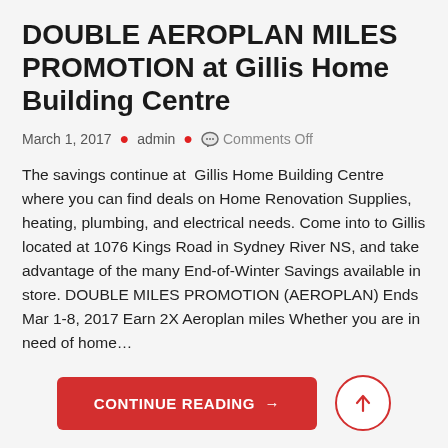DOUBLE AEROPLAN MILES PROMOTION at Gillis Home Building Centre
March 1, 2017 • admin • 💬 Comments Off
The savings continue at  Gillis Home Building Centre where you can find deals on Home Renovation Supplies, heating, plumbing, and electrical needs. Come into to Gillis located at 1076 Kings Road in Sydney River NS, and take advantage of the many End-of-Winter Savings available in store. DOUBLE MILES PROMOTION (AEROPLAN) Ends Mar 1-8, 2017 Earn 2X Aeroplan miles Whether you are in need of home…
CONTINUE READING →